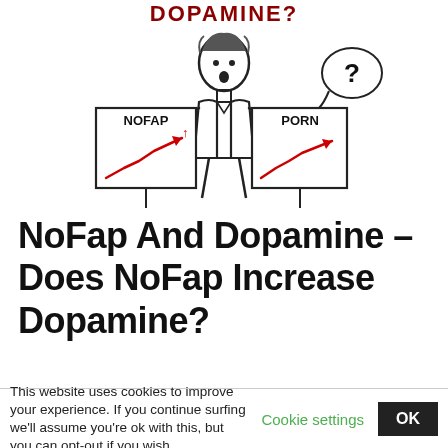[Figure (illustration): Cartoon illustration of a man holding two signs: left sign labeled NOFAP with a rising red line chart, right sign labeled PORN with a rising red line chart and a speech bubble with a question mark above.]
NoFap And Dopamine – Does NoFap Increase Dopamine?
This website uses cookies to improve your experience. If you continue surfing we'll assume you're ok with this, but you can opt-out if you wish.  Cookie settings  OK